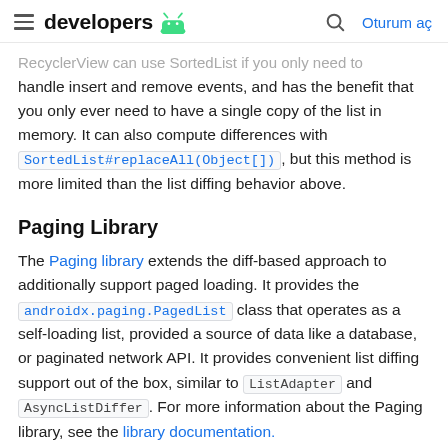developers [android logo] | Oturum aç
RecyclerView can use SortedList if you only need to handle insert and remove events, and has the benefit that you only ever need to have a single copy of the list in memory. It can also compute differences with SortedList#replaceAll(Object[]), but this method is more limited than the list diffing behavior above.
Paging Library
The Paging library extends the diff-based approach to additionally support paged loading. It provides the androidx.paging.PagedList class that operates as a self-loading list, provided a source of data like a database, or paginated network API. It provides convenient list diffing support out of the box, similar to ListAdapter and AsyncListDiffer. For more information about the Paging library, see the library documentation.